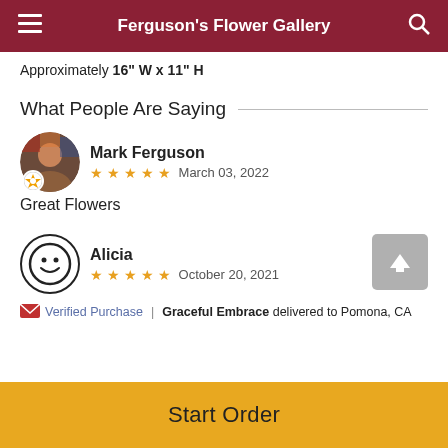Ferguson's Flower Gallery
Approximately 16" W x 11" H
What People Are Saying
Mark Ferguson
★ ★ ★ ★ ★   March 03, 2022
Great Flowers
Alicia
★ ★ ★ ★ ★   October 20, 2021
Verified Purchase  |  Graceful Embrace delivered to Pomona, CA
Start Order